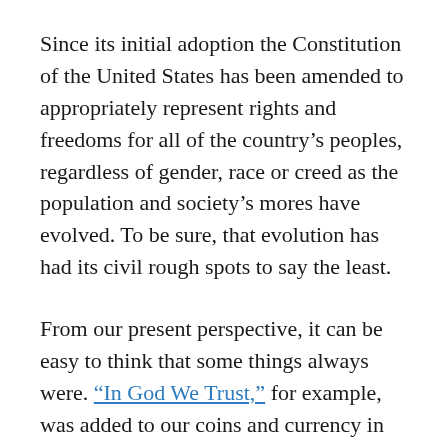Since its initial adoption the Constitution of the United States has been amended to appropriately represent rights and freedoms for all of the country's peoples, regardless of gender, race or creed as the population and society's mores have evolved. To be sure, that evolution has had its civil rough spots to say the least.
From our present perspective, it can be easy to think that some things always were. "In God We Trust," for example, was added to our coins and currency in 1864 at the end of the Civil War. The phrase "under God" in the Pledge of Allegiance was not added until 1954 during the McCarthy communism scare era.